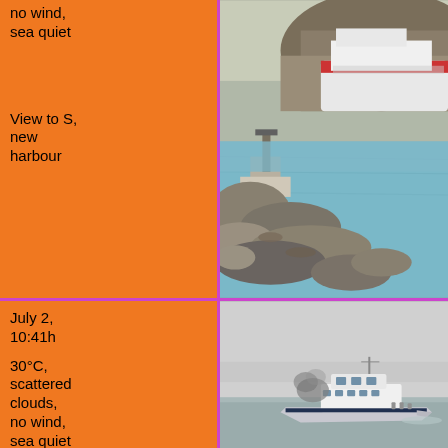no wind, sea quiet
View to S, new harbour
[Figure (photo): View of a harbour with rocky breakwater in foreground, calm sea water, and a large white cruise/passenger ship docked in the background against a hillside.]
July 2, 10:41h
30°C, scattered clouds, no wind, sea quiet
[Figure (photo): A patrol or passenger vessel moving across calm grey sea under an overcast sky, with smoke visible near the vessel.]